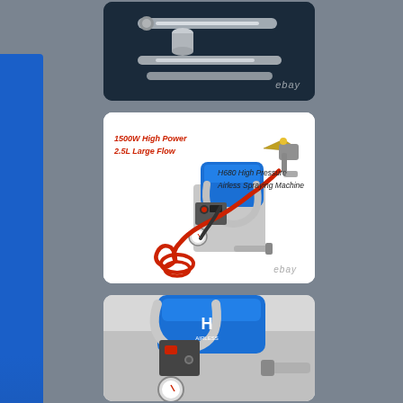[Figure (photo): Close-up product photo of spray gun metal components/accessories on dark navy background with ebay watermark]
[Figure (photo): H680 High Pressure Airless Spraying Machine product image showing full machine with red hose, spray gun, and blue/silver body. Text: 1500W High Power, 2.5L Large Flow, H680 High Pressure Airless Spraying Machine. Ebay watermark.]
[Figure (photo): Close-up of H680 airless spraying machine top section showing blue motor housing, control panel, gauges, and handle]